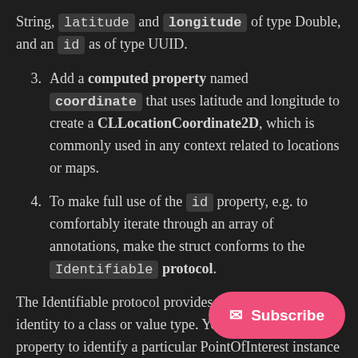String, latitude and longitude of type Double, and an id as of type UUID.
3. Add a computed property named coordinate that uses latitude and longitude to create a CLLocationCoordinate2D, which is commonly used in any context related to locations or maps.
4. To make full use of the id property, e.g. to comfortably iterate through an array of annotations, make the struct conforms to the Identifiable protocol.
The Identifiable protocol provides a s… identity to a class or value type. You… property to identify a particular PointOfInterest instance